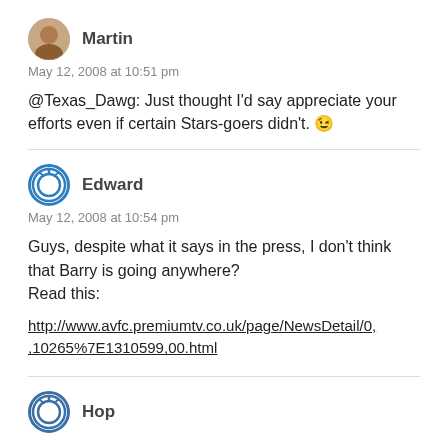Martin
May 12, 2008 at 10:51 pm
@Texas_Dawg: Just thought I'd say appreciate your efforts even if certain Stars-goers didn't. 😉
Edward
May 12, 2008 at 10:54 pm
Guys, despite what it says in the press, I don't think that Barry is going anywhere?
Read this:

http://www.avfc.premiumtv.co.uk/page/NewsDetail/0,,10265%7E1310599,00.html
Hop